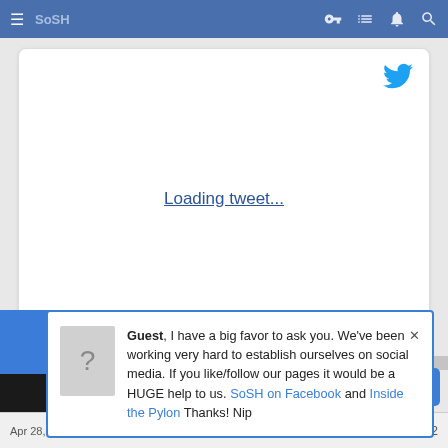SoSH
[Figure (screenshot): Tweet embed card showing 'Loading tweet...' link with Twitter bird logo in top right corner]
Guest, I have a big favor to ask you. We've been working very hard to establish ourselves on social media. If you like/follow our pages it would be a HUGE help to us. SoSH on Facebook and Inside the Pylon Thanks! Nip
Apr 28, 2022 #882